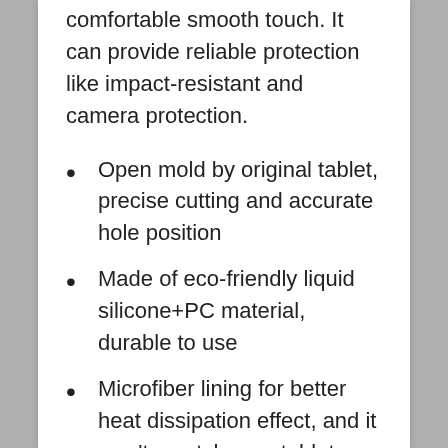comfortable smooth touch. It can provide reliable protection like impact-resistant and camera protection.
Open mold by original tablet, precise cutting and accurate hole position
Made of eco-friendly liquid silicone+PC material, durable to use
Microfiber lining for better heat dissipation effect, and it won't scratch your tablet
The raised edge around the screen lens helps protect against scratches